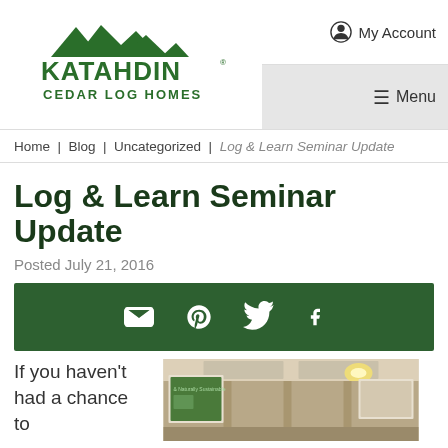Katahdin Cedar Log Homes – My Account | Menu
Home | Blog | Uncategorized | Log & Learn Seminar Update
Log & Learn Seminar Update
Posted July 21, 2016
[Figure (infographic): Social sharing bar with email, Pinterest, Twitter, and Facebook icons on dark green background]
If you haven't had a chance to
[Figure (photo): Photo of a seminar room with projection screen showing content, ceiling lights, and attendee area]